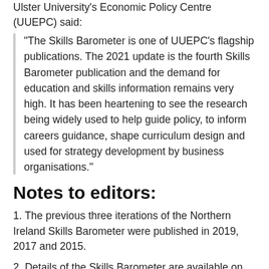Ulster University's Economic Policy Centre (UUEPC) said:
“The Skills Barometer is one of UUEPC’s flagship publications. The 2021 update is the fourth Skills Barometer publication and the demand for education and skills information remains very high. It has been heartening to see the research being widely used to help guide policy, to inform careers guidance, shape curriculum design and used for strategy development by business organisations.”
Notes to editors:
1. The previous three iterations of the Northern Ireland Skills Barometer were published in 2019, 2017 and 2015.
2. Details of the Skills Barometer are available on the DfE website
3. To keep up to date with news from the Department you